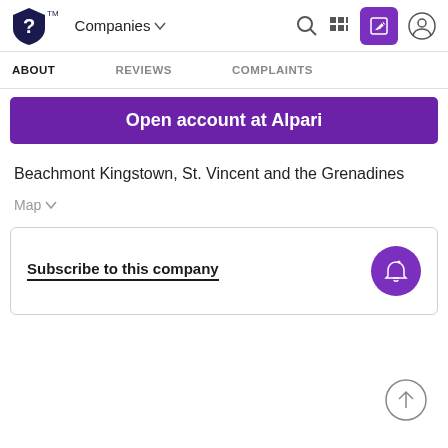Companies — navigation bar with logo, search, grid, edit, and profile icons
ABOUT   REVIEWS   COMPLAINTS
Open account at Alpari
Beachmont Kingstown, St. Vincent and the Grenadines
Map
Subscribe to this company